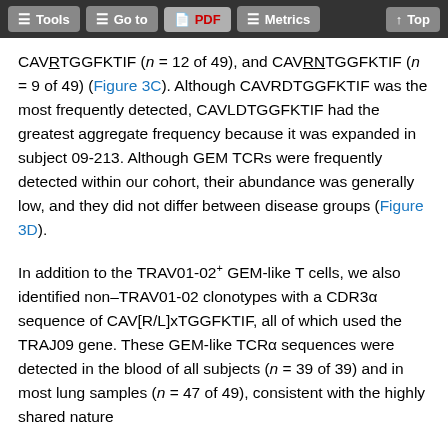Tools | Go to | PDF | Metrics | Top
CAVRNTGGFKTIF (n = 9 of 49) (Figure 3C). Although CAVRDTGGFKTIF was the most frequently detected, CAVLDTGGFKTIF had the greatest aggregate frequency because it was expanded in subject 09-213. Although GEM TCRs were frequently detected within our cohort, their abundance was generally low, and they did not differ between disease groups (Figure 3D).
In addition to the TRAV01-02+ GEM-like T cells, we also identified non–TRAV01-02 clonotypes with a CDR3α sequence of CAV[R/L]xTGGFKTIF, all of which used the TRAJ09 gene. These GEM-like TCRα sequences were detected in the blood of all subjects (n = 39 of 39) and in most lung samples (n = 47 of 49), consistent with the highly shared nature